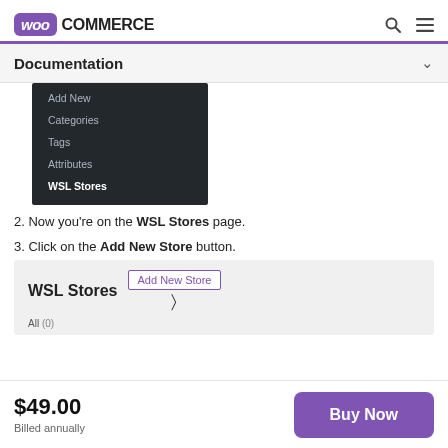WooCommerce
Documentation
[Figure (screenshot): Dark WordPress admin sidebar menu showing items: Add New, Categories, Tags, Attributes, WSL Stores (bold/selected)]
2. Now you're on the WSL Stores page.
3. Click on the Add New Store button.
[Figure (screenshot): WordPress admin UI showing 'WSL Stores' heading with 'Add New Store' button next to it and 'All (0)' below, cursor pointing to the button]
$49.00
Billed annually
Buy Now